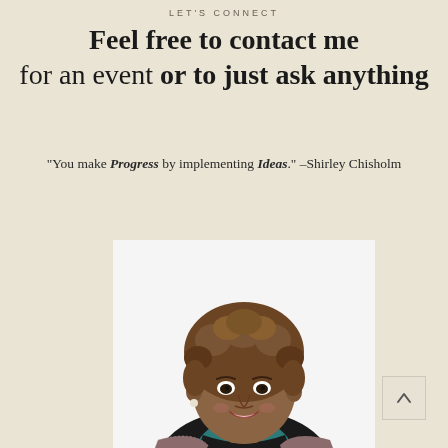LET'S CONNECT
Feel free to contact me for an event or to just ask anything
“You make Progress by implementing Ideas.” –Shirley Chisholm
[Figure (photo): Professional headshot of a smiling Black woman with short curly brown hair, wearing a multicolored tweed blazer over a dark top with a teal blouse underneath, pearl earring visible, white background]